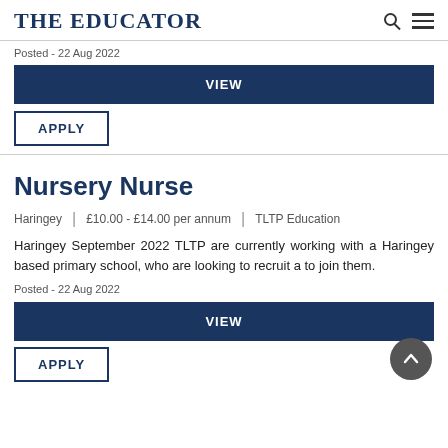THE EDUCATOR
Posted - 22 Aug 2022
VIEW
APPLY
Nursery Nurse
Haringey | £10.00 - £14.00 per annum | TLTP Education
Haringey September 2022 TLTP are currently working with a Haringey based primary school, who are looking to recruit a to join them.
Posted - 22 Aug 2022
VIEW
APPLY